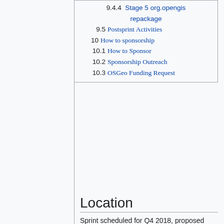9.4.4  Stage 5 org.opengis repackage
9.5  Postsprint Activities
10  How to sponsorship
10.1  How to Sponsor
10.2  Sponsorship Outreach
10.3  OSGeo Funding Request
Location
Sprint scheduled for Q4 2018, proposed date:
October 22-26th
We are looking at setting up a distributed sprint with locations in:
North America - Victoria, Boundless Office, billeting options available for those travelling
Europe